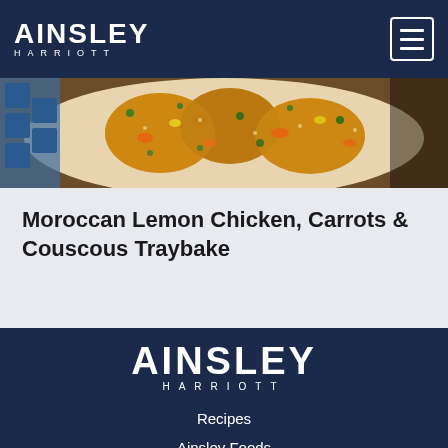AINSLEY HARRIOTT
[Figure (photo): Top-down photo of Moroccan Lemon Chicken with Carrots and Couscous Traybake on a decorative plate with blue tile pattern visible]
Moroccan Lemon Chicken, Carrots & Couscous Traybake
AINSLEY HARRIOTT — Recipes | Ainsley Foods | Contact